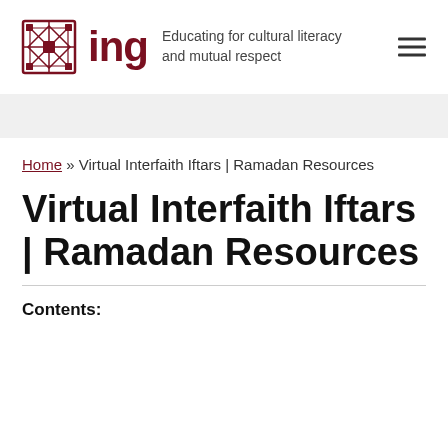[Figure (logo): ING logo with geometric Islamic pattern square icon in dark red, followed by bold 'ing' text in dark red, and tagline 'Educating for cultural literacy and mutual respect' in gray]
Home » Virtual Interfaith Iftars | Ramadan Resources
Virtual Interfaith Iftars | Ramadan Resources
Contents: